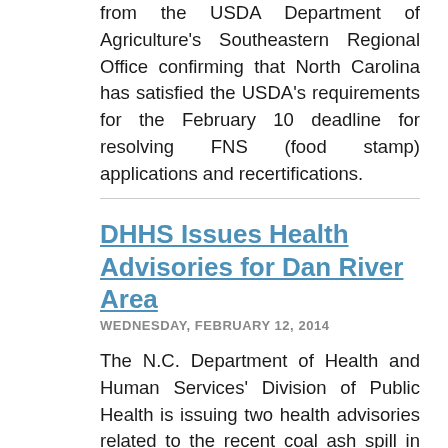from the USDA Department of Agriculture's Southeastern Regional Office confirming that North Carolina has satisfied the USDA's requirements for the February 10 deadline for resolving FNS (food stamp) applications and recertifications.
DHHS Issues Health Advisories for Dan River Area
WEDNESDAY, FEBRUARY 12, 2014
The N.C. Department of Health and Human Services' Division of Public Health is issuing two health advisories related to the recent coal ash spill in the Dan River in Eden.